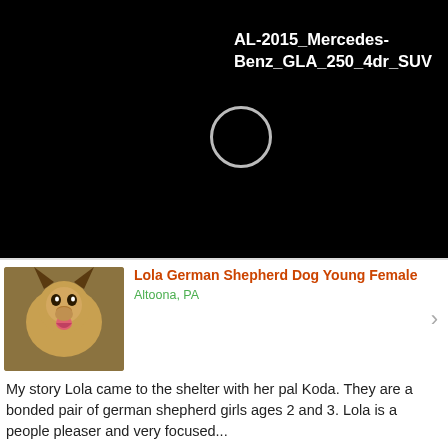[Figure (screenshot): Black banner area with text 'AL-2015_Mercedes-Benz_GLA_250_4dr_SUV' in white bold font, and a circular loading/icon indicator on the left]
Lola German Shepherd Dog Young Female
Altoona, PA
My story Lola came to the shelter with her pal Koda. They are a bonded pair of german shepherd girls ages 2 and 3. Lola is a people pleaser and very focused...
Pets and Animals Altoona
Toothless Domestic Shorthair Young Female
Altoona, PA
Urgent Care Marketing
Urgent Care Marketing to Improve Patient Acquisition Rate. No Contracts, Just Improved ROI GMR Web Team
Contact Us